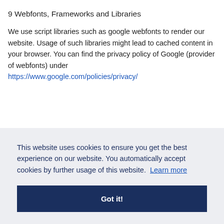9 Webfonts, Frameworks and Libraries
We use script libraries such as google webfonts to render our website. Usage of such libraries might lead to cached content in your browser. You can find the privacy policy of Google (provider of webfonts) under https://www.google.com/policies/privacy/
This website uses cookies to ensure you get the best experience on our website. You automatically accept cookies by further usage of this website.  Learn more
Got it!